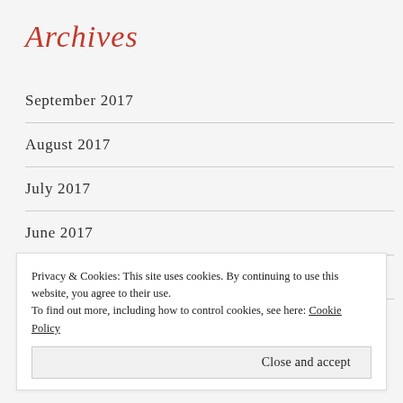Archives
September 2017
August 2017
July 2017
June 2017
May 2017
April 2017
Privacy & Cookies: This site uses cookies. By continuing to use this website, you agree to their use. To find out more, including how to control cookies, see here: Cookie Policy
Close and accept